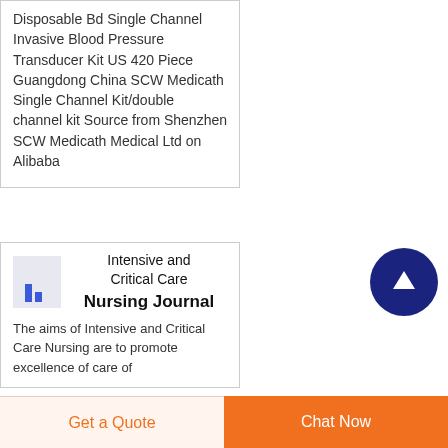Disposable Bd Single Channel Invasive Blood Pressure Transducer Kit US 420 Piece Guangdong China SCW Medicath Single Channel Kit/double channel kit Source from Shenzhen SCW Medicath Medical Ltd on Alibaba
[Figure (logo): Intensive and Critical Care Nursing Journal logo — small bar chart icon on light purple background]
Intensive and Critical Care Nursing Journal
The aims of Intensive and Critical Care Nursing are to promote excellence of care of
[Figure (other): Scroll-to-top circular button with white upward arrow on dark navy background]
Get a Quote
Chat Now